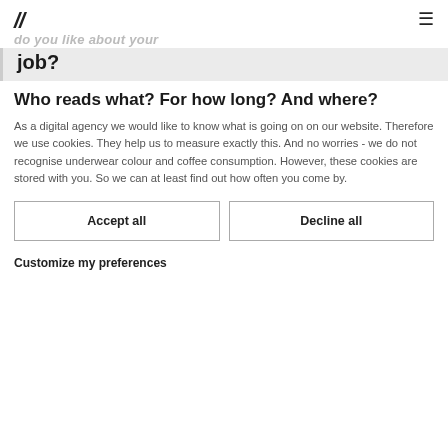// [faded text: What do you like about your job?]
job?
Who reads what? For how long? And where?
As a digital agency we would like to know what is going on on our website. Therefore we use cookies. They help us to measure exactly this. And no worries - we do not recognise underwear colour and coffee consumption. However, these cookies are stored with you. So we can at least find out how often you come by.
Accept all
Decline all
Customize my preferences